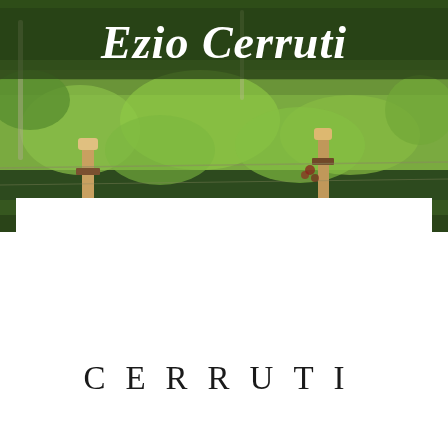[Figure (photo): Lush green vineyard rows with wooden posts and stakes, dense foliage, outdoor daytime scene]
Ezio Cerruti
CERRUTI